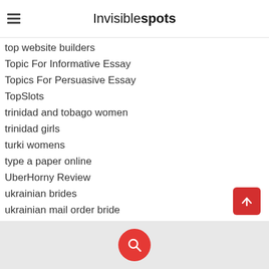Invisiblespots
top website builders
Topic For Informative Essay
Topics For Persuasive Essay
TopSlots
trinidad and tobago women
trinidad girls
turki womens
type a paper online
UberHorny Review
ukrainian brides
ukrainian mail order bride
Ukrainian Mail Order Brides
uncategorised
Uncategorized
Useful Tips For MOB
Victoriahearts Sign Up